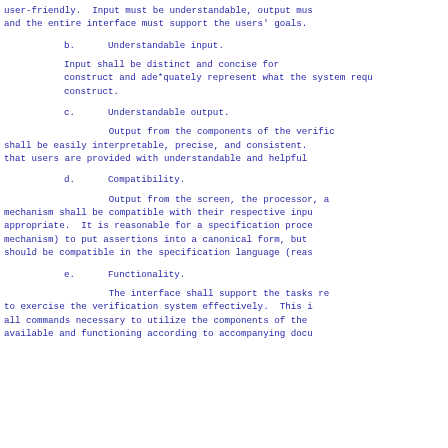user-friendly. Input must be understandable, output must and the entire interface must support the users' goals.
b.      Understandable input.
Input shall be distinct and concise for each construct and ade*quately represent what the system requires for each construct.
c.      Understandable output.
Output from the components of the verification system shall be easily interpretable, precise, and consistent. that users are provided with understandable and helpful information.
d.      Compatibility.
Output from the screen, the processor, and the mechanism shall be compatible with their respective input appropriate. It is reasonable for a specification process (or mechanism) to put assertions into a canonical form, but output should be compatible in the specification language (reasonable).
e.      Functionality.
The interface shall support the tasks required to exercise the verification system effectively. This includes all commands necessary to utilize the components of the mechanism, available and functioning according to accompanying documentation.